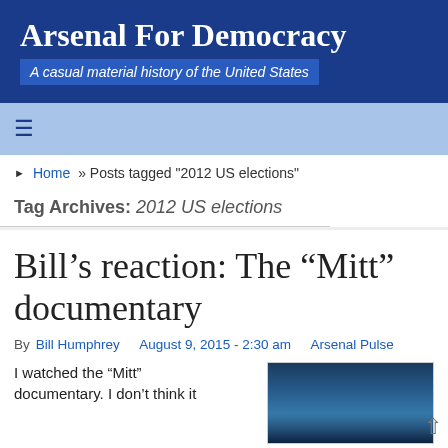Arsenal For Democracy
A casual material history of the United States
≡
Home » Posts tagged "2012 US elections"
Tag Archives: 2012 US elections
Bill's reaction: The “Mitt” documentary
By Bill Humphrey   August 9, 2015 - 2:30 am   Arsenal Pulse
I watched the “Mitt” documentary. I don’t think it
[Figure (photo): Dark blue ocean or sky photo thumbnail]